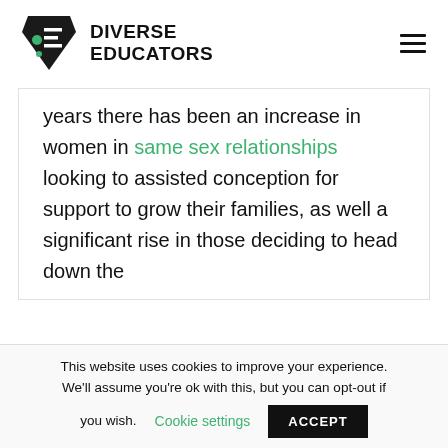DIVERSE EDUCATORS
years there has been an increase in women in same sex relationships looking to assisted conception for support to grow their families, as well a significant rise in those deciding to head down the
This website uses cookies to improve your experience. We'll assume you're ok with this, but you can opt-out if you wish. Cookie settings ACCEPT